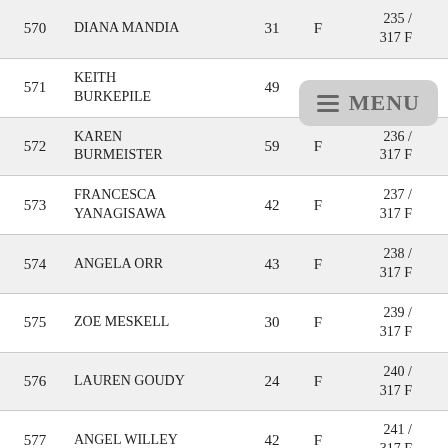| # | Name | Age | Sex | Division | Bib |
| --- | --- | --- | --- | --- | --- |
| 570 | DIANA MANDIA | 31 | F | 235 / 317 F | 40 30 34 |
| 571 | KEITH BURKEPILE | 49 | M | 379 M | 49 |
| 572 | KAREN BURMEISTER | 59 | F | 236 / 317 F | 16 55 59 |
| 573 | FRANCESCA YANAGISAWA | 42 | F | 237 / 317 F | 34 40 44 |
| 574 | ANGELA ORR | 43 | F | 238 / 317 F | 35 40 44 |
| 575 | ZOE MESKELL | 30 | F | 239 / 317 F | 41 30 34 |
| 576 | LAUREN GOUDY | 24 | F | 240 / 317 F | 13 20 24 |
| 577 | ANGEL WILLEY | 42 | F | 241 / 317 F | 36 40 44 |